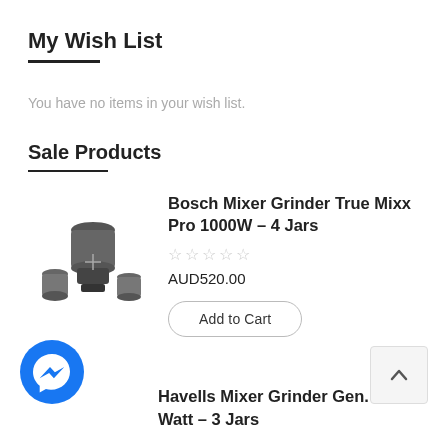My Wish List
You have no items in your wish list.
Sale Products
[Figure (photo): Bosch Mixer Grinder with multiple jars]
Bosch Mixer Grinder True Mixx Pro 1000W - 4 Jars
AUD520.00
Add to Cart
[Figure (logo): Facebook Messenger chat button (blue circle with messenger icon)]
[Figure (other): Scroll to top button with upward chevron]
Havells Mixer Grinder Gen... --- Watt - 3 Jars